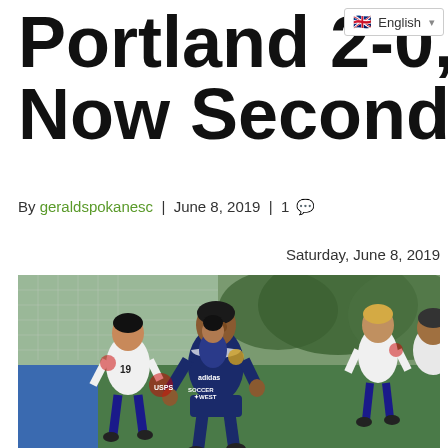Portland 2-0, Now Second
By geraldspokanesc | June 8, 2019 | 1 💬
Saturday, June 8, 2019
[Figure (photo): Soccer players on field during match, player in navy blue Soccer West jersey running with ball, surrounded by players in white jerseys numbered 19]